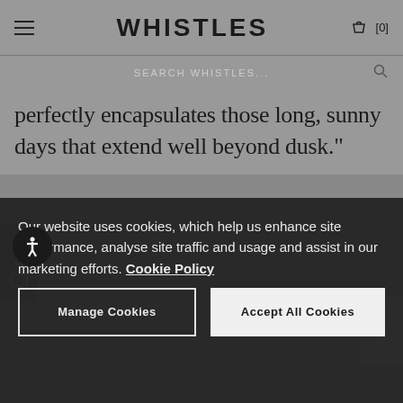WHISTLES
SEARCH WHISTLES...
perfectly encapsulates those long, sunny days that extend well beyond dusk."
[Figure (screenshot): Product image strip showing fashion items, partially visible]
Our website uses cookies, which help us enhance site performance, analyse site traffic and usage and assist in our marketing efforts. Cookie Policy
Manage Cookies
Accept All Cookies